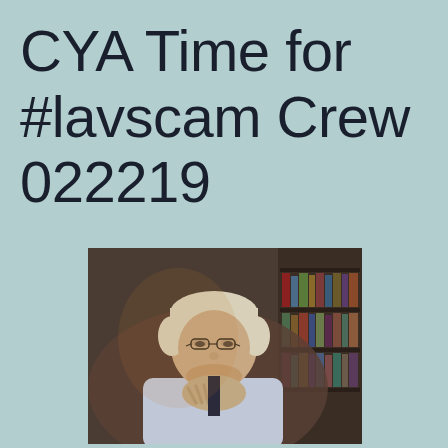CYA Time for #lavscam Crew 022219
[Figure (photo): Portrait of an older man with white/blonde hair, glasses, resting his chin on his clasped hands, wearing a light blue shirt. A bookshelf with books is visible in the background on the right. The photo has warm, moody lighting.]